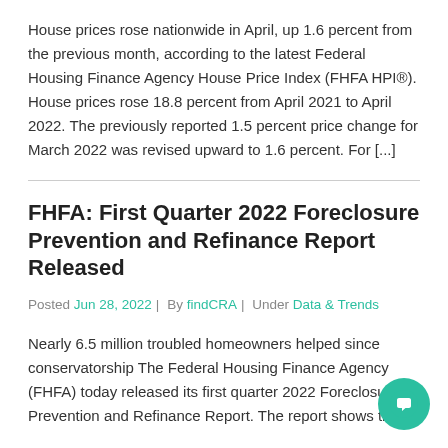House prices rose nationwide in April, up 1.6 percent from the previous month, according to the latest Federal Housing Finance Agency House Price Index (FHFA HPI®). House prices rose 18.8 percent from April 2021 to April 2022. The previously reported 1.5 percent price change for March 2022 was revised upward to 1.6 percent. For [...]
FHFA: First Quarter 2022 Foreclosure Prevention and Refinance Report Released
Posted Jun 28, 2022 | By findCRA | Under Data & Trends
Nearly 6.5 million troubled homeowners helped since conservatorship The Federal Housing Finance Agency (FHFA) today released its first quarter 2022 Foreclosure Prevention and Refinance Report. The report shows that